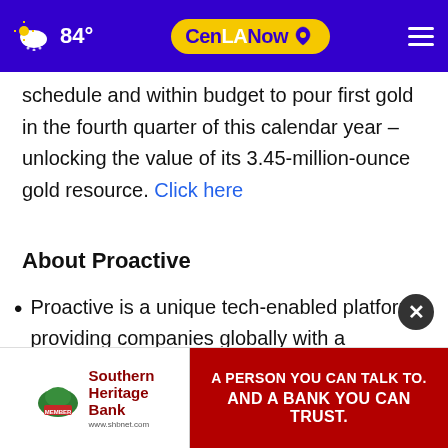84° | CenLA Now
schedule and within budget to pour first gold in the fourth quarter of this calendar year – unlocking the value of its 3.45-million-ounce gold resource. Click here
About Proactive
Proactive is a unique tech-enabled platform providing companies globally with a comprehensive investor
eness
[Figure (other): Southern Heritage Bank advertisement: logo on left with text 'Southern Heritage Bank www.shbnet.com', red panel on right reading 'A PERSON YOU CAN TALK TO. AND A BANK YOU CAN TRUST.']